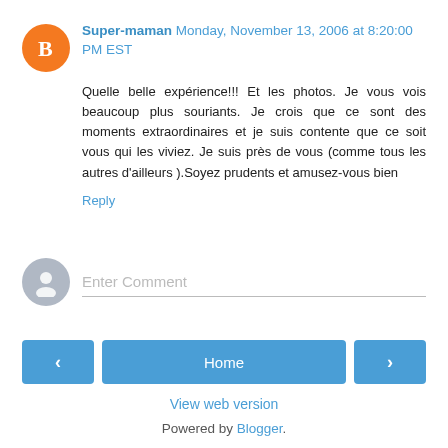Super-maman Monday, November 13, 2006 at 8:20:00 PM EST
Quelle belle expérience!!! Et les photos. Je vous vois beaucoup plus souriants. Je crois que ce sont des moments extraordinaires et je suis contente que ce soit vous qui les viviez. Je suis près de vous (comme tous les autres d'ailleurs ).Soyez prudents et amusez-vous bien
Reply
Enter Comment
Home
View web version
Powered by Blogger.